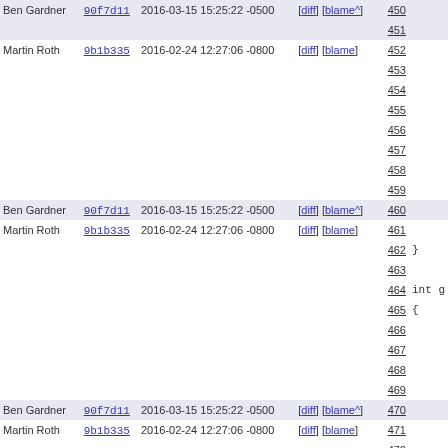| Author | Hash | Date | Links | Line | Code |
| --- | --- | --- | --- | --- | --- |
| Ben Gardner | 90f7d11 | 2016-03-15 15:25:22 -0500 | [diff] [blame^] | 450 |  |
|  |  |  |  | 451 |  |
| Martin Roth | 9b1b335 | 2016-02-24 12:27:06 -0800 | [diff] [blame] | 452 |  |
|  |  |  |  | 453 |  |
|  |  |  |  | 454 |  |
|  |  |  |  | 455 |  |
|  |  |  |  | 456 |  |
|  |  |  |  | 457 |  |
|  |  |  |  | 458 |  |
|  |  |  |  | 459 |  |
| Ben Gardner | 90f7d11 | 2016-03-15 15:25:22 -0500 | [diff] [blame^] | 460 |  |
| Martin Roth | 9b1b335 | 2016-02-24 12:27:06 -0800 | [diff] [blame] | 461 |  |
|  |  |  |  | 462 | } |
|  |  |  |  | 463 |  |
|  |  |  |  | 464 | int g |
|  |  |  |  | 465 | { |
|  |  |  |  | 466 |  |
|  |  |  |  | 467 |  |
|  |  |  |  | 468 |  |
|  |  |  |  | 469 |  |
| Ben Gardner | 90f7d11 | 2016-03-15 15:25:22 -0500 | [diff] [blame^] | 470 |  |
| Martin Roth | 9b1b335 | 2016-02-24 12:27:06 -0800 | [diff] [blame] | 471 |  |
|  |  |  |  | 472 |  |
|  |  |  |  | 473 |  |
| Ben Gardner | 90f7d11 | 2016-03-15 15:25:22 -0500 | [diff] [blame^] | 474 |  |
| Martin Roth | 9b1b335 | 2016-02-24 12:27:06 -0800 | [diff] [blame] | 475 |  |
|  |  |  |  | 476 |  |